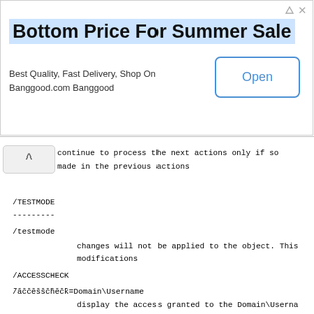[Figure (screenshot): Advertisement banner: 'Bottom Price For Summer Sale' with subtitle 'Best Quality, Fast Delivery, Shop On Banggood.com Banggood' and an 'Open' button]
continue to process the next actions only if so
made in the previous actions
/TESTMODE
---------
/testmode
changes will not be applied to the object. This
modifications
/ACCESSCHECK
------------
/accesscheck=Domain\Username
display the access granted to the Domain\Userna
be asked. This option requires the SeTcbName pr
of the Operating System). This option cannot be
Note : the access is checked with the NETWORK